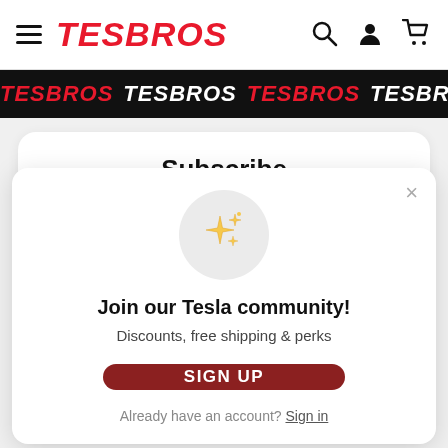[Figure (logo): TESBROS logo with hamburger menu icon on the left, and search, user, cart icons on the right in a white header bar]
[Figure (infographic): Black marquee banner repeating TESBROS in alternating red and white bold italic text]
Subscribe
[Figure (illustration): Sparkle/stars emoji icon in a light grey circle]
Join our Tesla community!
Discounts, free shipping & perks
SIGN UP
Already have an account? Sign in